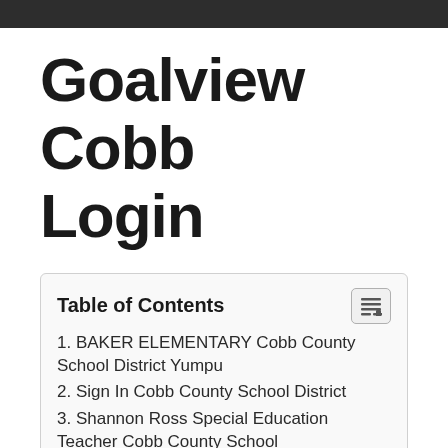Goalview Cobb Login
Table of Contents
1. BAKER ELEMENTARY Cobb County School District Yumpu
2. Sign In Cobb County School District
3. Shannon Ross Special Education Teacher Cobb County School
4. Dr I Hiram ESL Teacher Teaches Private Lessons In 30141
5. Teacher S Edition Cobb County School District